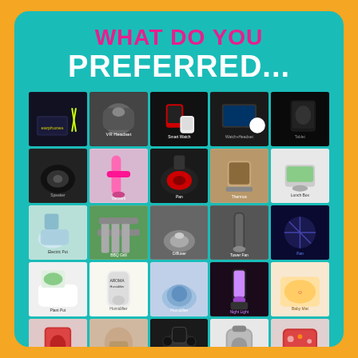WHAT DO YOU PREFERRED...
[Figure (photo): Grid of 25 product images including electronics, kitchen appliances, bags, beauty products, and home goods arranged in a 5x5 mosaic on a teal background with orange outer border]